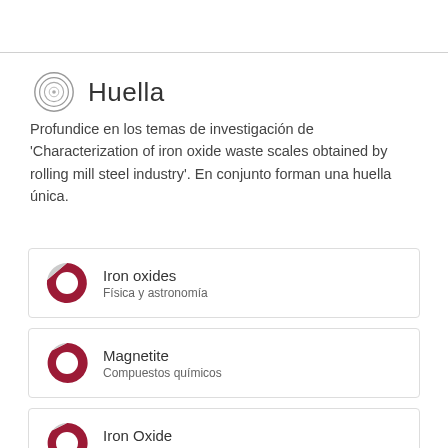Huella
Profundice en los temas de investigación de 'Characterization of iron oxide waste scales obtained by rolling mill steel industry'. En conjunto forman una huella única.
Iron oxides – Física y astronomía
Magnetite – Compuestos químicos
Iron Oxide – Compuestos químicos